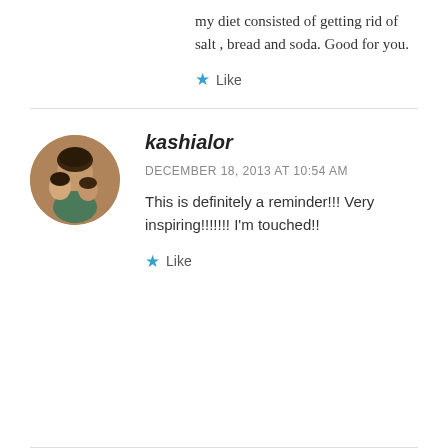my diet consisted of getting rid of salt , bread and soda. Good for you.
★ Like
kashialor
DECEMBER 18, 2013 AT 10:54 AM
This is definitely a reminder!!! Very inspiring!!!!!!! I'm touched!!
★ Like